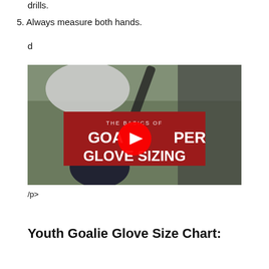drills.
5. Always measure both hands.
d
[Figure (screenshot): Video thumbnail showing hockey goalie gloves with a red YouTube play button overlay and text reading 'THE BASICS OF GOALKEEPER GLOVE SIZING']
/p>
Youth Goalie Glove Size Chart: